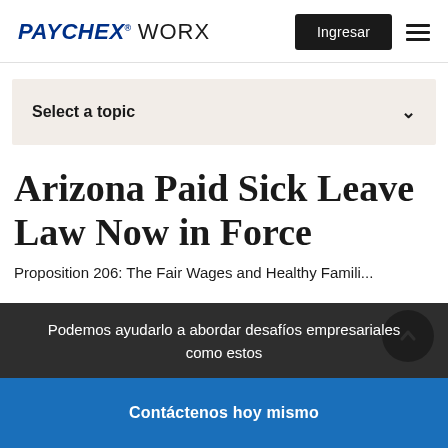PAYCHEX WORX
Select a topic
Arizona Paid Sick Leave Law Now in Force
Proposition 206: The Fair Wages and Healthy Families...
Podemos ayudarlo a abordar desafíos empresariales como estos
Contáctenos hoy mismo